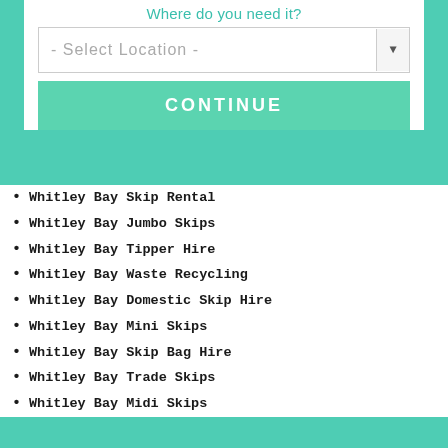Where do you need it?
[Figure (screenshot): Select Location dropdown with Continue button]
Whitley Bay Skip Rental
Whitley Bay Jumbo Skips
Whitley Bay Tipper Hire
Whitley Bay Waste Recycling
Whitley Bay Domestic Skip Hire
Whitley Bay Mini Skips
Whitley Bay Skip Bag Hire
Whitley Bay Trade Skips
Whitley Bay Midi Skips
By using this website you are agreeing to the use of third-party cookies Learn More  OK
Skip hire in Whitley Bay. asking for a quote in Whitley Bay street, Burnside St Ronans Road, The Fold, Thornbury Drive, Clifton Grove,